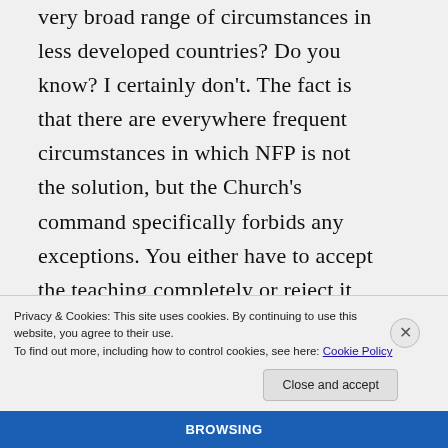very broad range of circumstances in less developed countries? Do you know? I certainly don't. The fact is that there are everywhere frequent circumstances in which NFP is not the solution, but the Church's command specifically forbids any exceptions. You either have to accept the teaching completely or reject it — Paul VI deliberately (in italics!). cut out any third way.
Privacy & Cookies: This site uses cookies. By continuing to use this website, you agree to their use. To find out more, including how to control cookies, see here: Cookie Policy
Close and accept